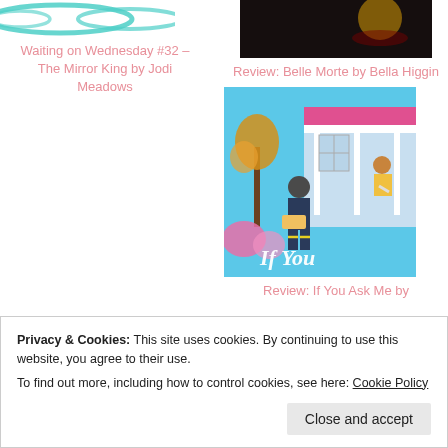[Figure (illustration): Teal/turquoise ribbon decoration at top left]
Waiting on Wednesday #32 – The Mirror King by Jodi Meadows
[Figure (photo): Dark book cover image at top right for Belle Morte]
Review: Belle Morte by Bella Higgin
[Figure (illustration): Book cover illustration for If You Ask Me showing a firefighter and a person on a porch]
Review: If You Ask Me by
Privacy & Cookies: This site uses cookies. By continuing to use this website, you agree to their use.
To find out more, including how to control cookies, see here: Cookie Policy
[Figure (illustration): Teal ribbon decoration at bottom left]